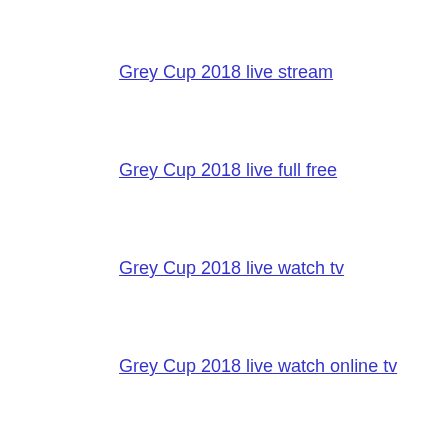Grey Cup 2018 live stream
Grey Cup 2018 live full free
Grey Cup 2018 live watch tv
Grey Cup 2018 live watch online tv
Grey Cup 2018 live
Grey Cup 2018 live free
Grey Cup 2018 watch
Grey Cup 2018 Live Tv Game
Grey Cup 2018
Grey Cup 2018 live Free tv
https://greycup-live.ca/